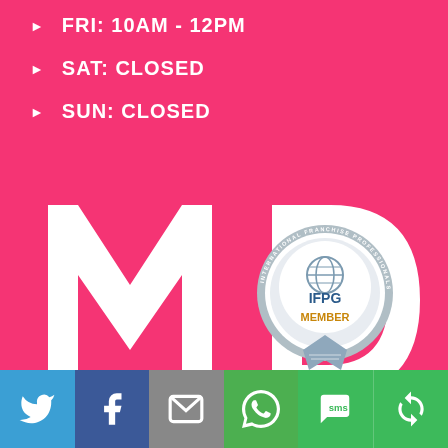FRI: 10AM - 12PM
SAT: CLOSED
SUN: CLOSED
[Figure (logo): MD Mindful Design Consulting logo - large white M and D letters with vertical text MINDFUL DESIGN CONSULTING on pink background]
[Figure (logo): IFPG International Franchise Professionals Group Member badge/seal]
[Figure (infographic): Social media sharing bar with Twitter, Facebook, Email, WhatsApp, SMS, and other icons on colored backgrounds]